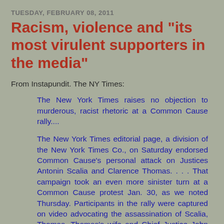TUESDAY, FEBRUARY 08, 2011
Racism, violence and "its most virulent supporters in the media"
From Instapundit.  The NY Times:
The New York Times raises no objection to murderous, racist rhetoric at a Common Cause rally....
The New York Times editorial page, a division of the New York Times Co., on Saturday endorsed Common Cause's personal attack on Justices Antonin Scalia and Clarence Thomas. . . . That campaign took an even more sinister turn at a Common Cause protest Jan. 30, as we noted Thursday. Participants in the rally were captured on video advocating the assassination of Scalia, Thomas, Thomas's wife and Chief Justice John Roberts. Two of them explicitly called for Justice